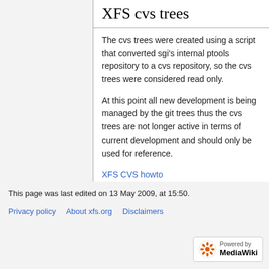XFS cvs trees
The cvs trees were created using a script that converted sgi's internal ptools repository to a cvs repository, so the cvs trees were considered read only.
At this point all new development is being managed by the git trees thus the cvs trees are not longer active in terms of current development and should only be used for reference.
XFS CVS howto
This page was last edited on 13 May 2009, at 15:50.
Privacy policy   About xfs.org   Disclaimers